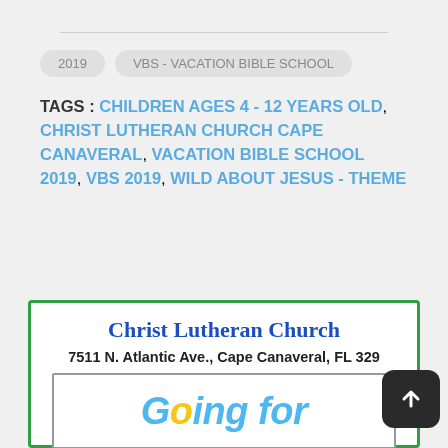2019
VBS - VACATION BIBLE SCHOOL
TAGS : CHILDREN AGES 4 - 12 YEARS OLD, CHRIST LUTHERAN CHURCH CAPE CANAVERAL, VACATION BIBLE SCHOOL 2019, VBS 2019, WILD ABOUT JESUS - THEME
[Figure (other): Christ Lutheran Church advertisement card with green border, church name in blue bold serif font, address '7511 N. Atlantic Ave., Cape Canaveral, FL 329...' in bold, and a sub-image with 'Going for' in blue italic bold text]
[Figure (other): Dark brown/black rounded square scroll-to-top button with upward arrow icon]